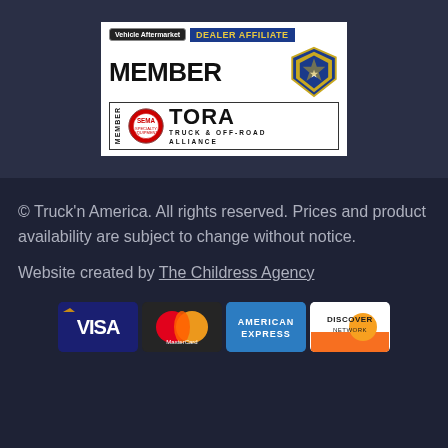[Figure (logo): Vehicle Aftermarket and Dealer Affiliate member logos, including SEMA TORA (Truck & Off-Road Alliance) membership badge]
© Truck'n America. All rights reserved. Prices and product availability are subject to change without notice.
Website created by The Childress Agency
[Figure (logo): Payment method logos: Visa, MasterCard, American Express, Discover Network]